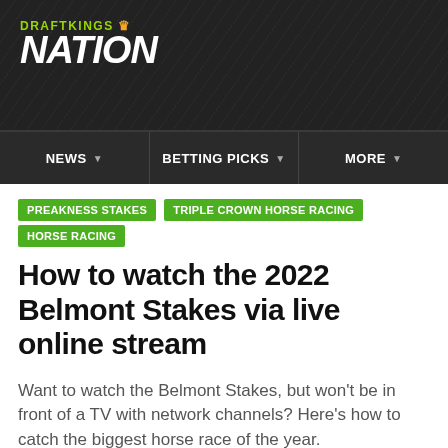[Figure (logo): DraftKings Nation logo with green text on dark diagonal-striped background]
NEWS | BETTING PICKS | MORE
PREAKNESS STAKES
TRIPLE CROWN HORSE RACING
HORSE RACING
How to watch the 2022 Belmont Stakes via live online stream
Want to watch the Belmont Stakes, but won't be in front of a TV with network channels? Here's how to catch the biggest horse race of the year.
By Brian Murphy_UCF | Jun 11, 2022, 4:05am PDT